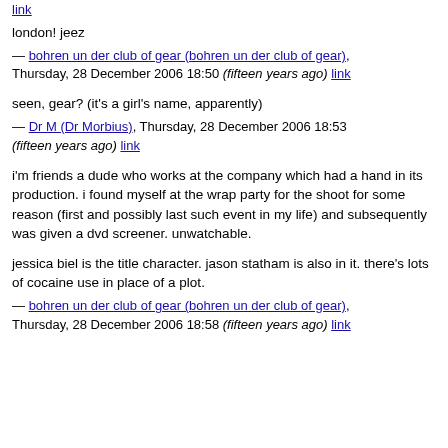london! jeez
— bohren un der club of gear (bohren un der club of gear), Thursday, 28 December 2006 18:50 (fifteen years ago) link
seen, gear? (it's a girl's name, apparently)
— Dr M (Dr Morbius), Thursday, 28 December 2006 18:53 (fifteen years ago) link
i'm friends a dude who works at the company which had a hand in its production. i found myself at the wrap party for the shoot for some reason (first and possibly last such event in my life) and subsequently was given a dvd screener. unwatchable.
jessica biel is the title character. jason statham is also in it. there's lots of cocaine use in place of a plot.
— bohren un der club of gear (bohren un der club of gear), Thursday, 28 December 2006 18:58 (fifteen years ago) link